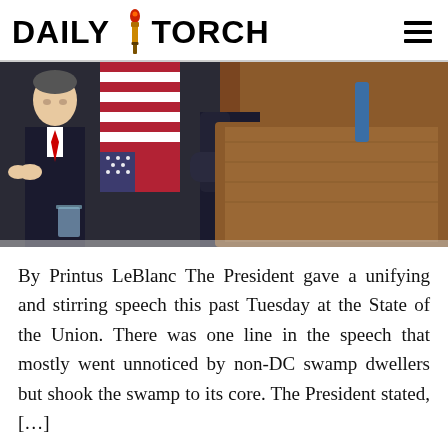DAILY TORCH
[Figure (photo): Photo of a presidential speech at the State of the Union address, showing a man in a suit at a wooden podium with an American flag in the background and another man in a suit applauding to the left]
By Printus LeBlanc The President gave a unifying and stirring speech this past Tuesday at the State of the Union. There was one line in the speech that mostly went unnoticed by non-DC swamp dwellers but shook the swamp to its core. The President stated, […]